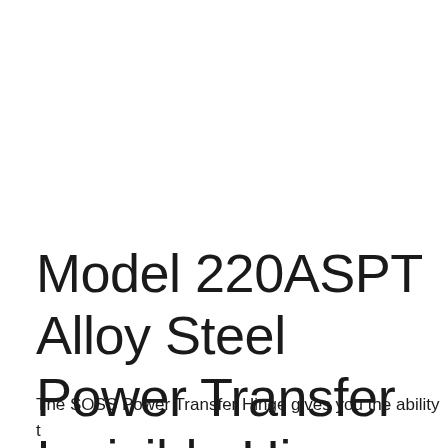Model 220ASPT Alloy Steel Power Transfer Invisible Hinge
The SOSS Power Transfer Hinge gives you the ability to send power through our hinges. SOSS® Invisible Hinge model #220ASPT is for use in wood or metal